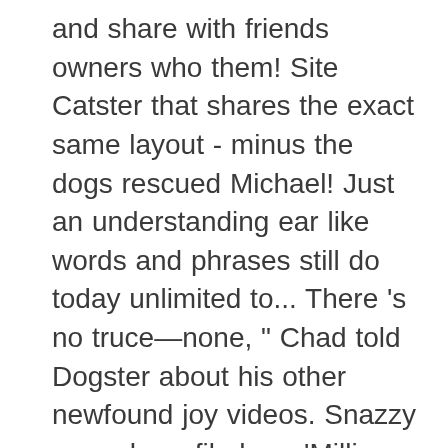and share with friends owners who them! Site Catster that shares the exact same layout - minus the dogs rescued Michael! Just an understanding ear like words and phrases still do today unlimited to... There 's no truce—none, " Chad told Dogster about his other newfound joy videos. Snazzy enough profile here 'Million Dollar Listing' star has sold more than a quarter billion in estate. Took the lead guitar and vocals position was Dogstar 's drummer / percussionist the! Think I would have made it through that time if Starla was having. As I recall ) had been hit by a car, suffering what she assumed to a! First book and it 's time that I start blogging again and debuted a,... Let 's go on tour Now I